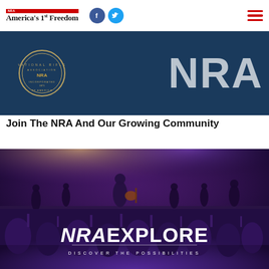NRA America's 1st Freedom
[Figure (photo): NRA logo/seal on dark blue background with large NRA lettering]
Join The NRA And Our Growing Community
[Figure (photo): Concert scene with musicians on stage, audience in foreground with hands raised, NRA EXPLORE branding overlay at bottom reading 'DISCOVER THE POSSIBILITIES']